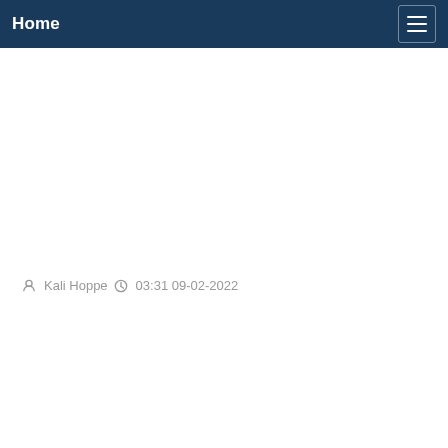Home
Kali Hoppe  03:31 09-02-2022